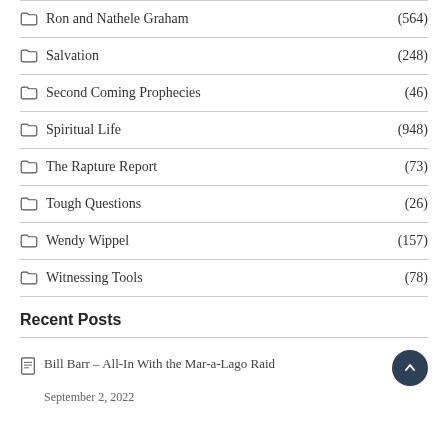Ron and Nathele Graham (564)
Salvation (248)
Second Coming Prophecies (46)
Spiritual Life (948)
The Rapture Report (73)
Tough Questions (26)
Wendy Wippel (157)
Witnessing Tools (78)
Recent Posts
Bill Barr – All-In With the Mar-a-Lago Raid
September 2, 2022